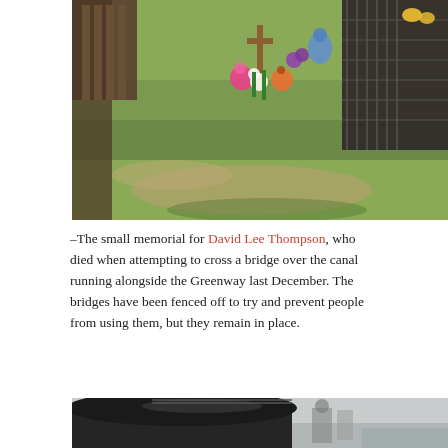[Figure (photo): A small roadside memorial with flowers, a cross, and decorations on a grassy area next to a fence, in memory of David Lee Thompson.]
–The small memorial for David Lee Thompson, who died when attempting to cross a bridge over the canal running alongside the Greenway last December. The bridges have been fenced off to try and prevent people from using them, but they remain in place.
[Figure (photo): Partial view of a dark colored vehicle, likely an SUV or minivan, photographed outdoors.]